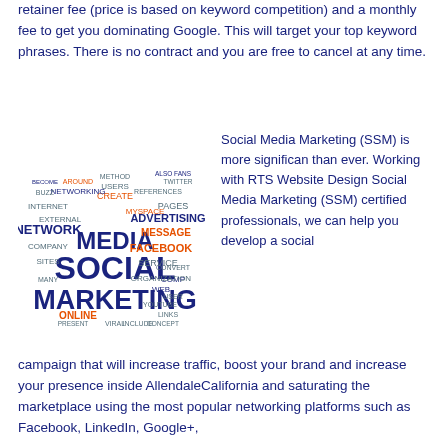retainer fee (price is based on keyword competition) and a monthly fee to get you dominating Google. This will target your top keyword phrases. There is no contract and you are free to cancel at any time.
[Figure (illustration): Social media marketing word cloud with words like SOCIAL, MEDIA, MARKETING, NETWORK, FACEBOOK, ONLINE, etc.]
Social Media Marketing (SSM) is more significan than ever. Working with RTS Website Design Social Media Marketing (SSM) certified professionals, we can help you develop a social campaign that will increase traffic, boost your brand and increase your presence inside AllendaleCalifornia and saturating the marketplace using the most popular networking platforms such as Facebook, LinkedIn, Google+,